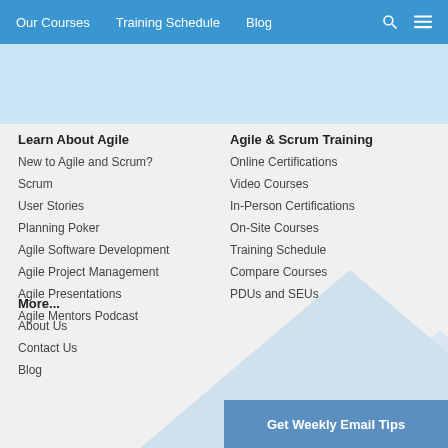Our Courses | Training Schedule | Blog
[Figure (illustration): Light blue banner below navigation bar]
Learn About Agile
New to Agile and Scrum?
Scrum
User Stories
Planning Poker
Agile Software Development
Agile Project Management
Agile Presentations
Agile Mentors Podcast
Agile & Scrum Training
Online Certifications
Video Courses
In-Person Certifications
On-Site Courses
Training Schedule
Compare Courses
PDUs and SEUs
More...
About Us
Contact Us
Blog
Get Weekly Email Tips